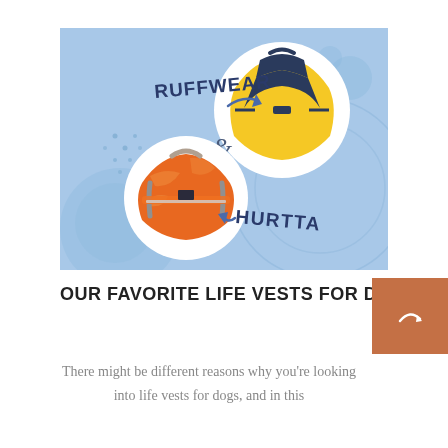[Figure (illustration): Blue background infographic showing two circular product images of dog life vests — a yellow Ruffwear vest (top right circle) and an orange Hurtta vest (bottom left circle) — with the brand names 'RUFFWEAR' and 'HURTTA' written in dark blue handwritten-style font, connected by arrows, with an ampersand '&' in the center.]
OUR FAVORITE LIFE VESTS FOR DOGS
There might be different reasons why you're looking into life vests for dogs, and in this